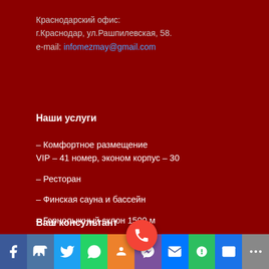Краснодарский офис:
г.Краснодар, ул.Рашпилевская, 58.
e-mail: infomezmay@gmail.com
Наши услуги
– Комфортное размещение
VIP – 41 номер, эконом корпус – 30
– Ресторан
– Финская сауна и бассейн
– Горнолыжный склон 1500 м
– Организация отдыха в горах
трансфер, услуги экскурсовода
Ваш консультант
[Figure (infographic): Bottom social media navigation bar with icons: Facebook, VKontakte, Twitter, WhatsApp, Odnoklassniki, Viber, Mail.ru, Evernote, Email, More. Red circular call button above the bar.]